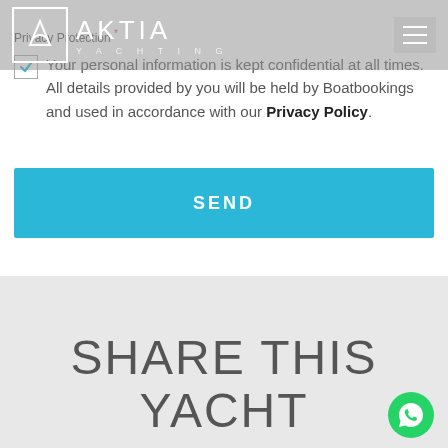[Figure (logo): Aktia Yachting logo with square border and hamburger menu navigation bar]
Privacy Protection *
Your personal information is kept confidential at all times. All details provided by you will be held by Boatbookings and used in accordance with our Privacy Policy.
SEND
SHARE THIS YACHT